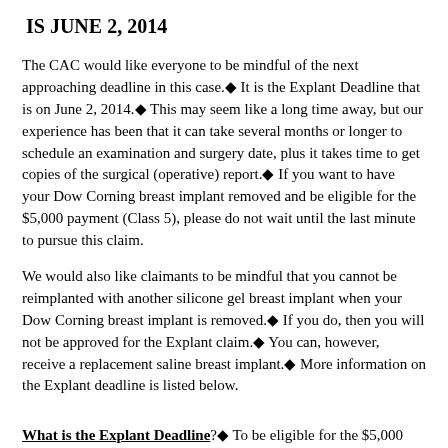IS JUNE 2, 2014
The CAC would like everyone to be mindful of the next approaching deadline in this case.◆ It is the Explant Deadline that is on June 2, 2014.◆ This may seem like a long time away, but our experience has been that it can take several months or longer to schedule an examination and surgery date, plus it takes time to get copies of the surgical (operative) report.◆ If you want to have your Dow Corning breast implant removed and be eligible for the $5,000 payment (Class 5), please do not wait until the last minute to pursue this claim.
We would also like claimants to be mindful that you cannot be reimplanted with another silicone gel breast implant when your Dow Corning breast implant is removed.◆ If you do, then you will not be approved for the Explant claim.◆ You can, however, receive a replacement saline breast implant.◆ More information on the Explant deadline is listed below.
What is the Explant Deadline?◆ To be eligible for the $5,000 Explant benefit (Class 5 only), you must have your